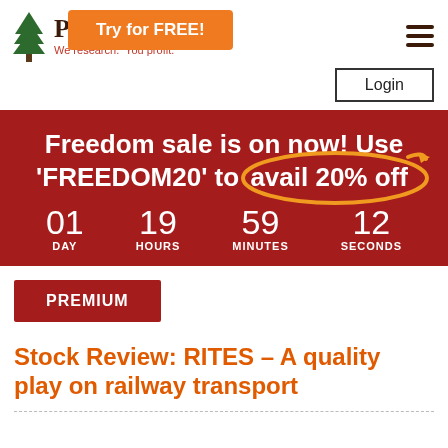[Figure (logo): Redwood/pine tree logo with company name partially obscured by orange CTA button. Tagline: We research. You profit.]
Try for FREE!
Login
Freedom sale is on now! Use 'FREEDOM20' to avail 20% off
01 DAY  19 HOURS  59 MINUTES  12 SECONDS
PREMIUM
Stock Review: RITES – A quality play on railway transport